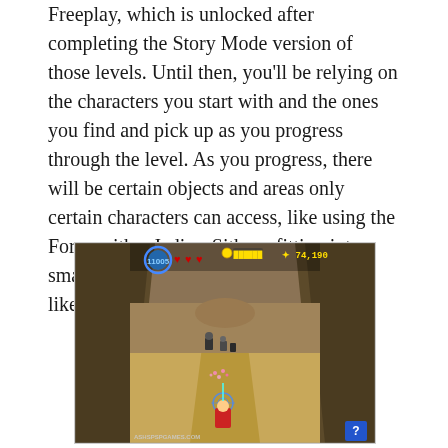Freeplay, which is unlocked after completing the Story Mode version of those levels. Until then, you'll be relying on the characters you start with and the ones you find and pick up as you progress through the level. As you progress, there will be certain objects and areas only certain characters can access, like using the Force with a Jedi or Sith, or fitting into a small door/crevice with a short character like Ashoka or Luma.
[Figure (screenshot): A video game screenshot from what appears to be a LEGO Star Wars game on PSP. The screen shows characters on a sandy/rocky level. HUD elements include a blue circular character portrait in the top-left, three red heart icons, a yellow LEGO stud counter in the center top, and a score reading 74,190 in the top-right. A watermark reads ASHSPSPGAMES.COM at the bottom-left. A blue question-mark box appears bottom-right.]